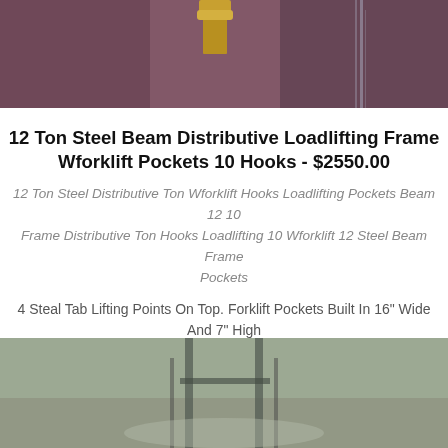[Figure (photo): Top portion of a photo showing a steel beam loadlifting frame with a bolt/hook visible at top center and water streaks, against a dark reddish-brown metal background]
12 Ton Steel Beam Distributive Loadlifting Frame Wforklift Pockets 10 Hooks - $2550.00
12 Ton Steel Distributive Ton Wforklift Hooks Loadlifting Pockets Beam 12 10 Frame Distributive Ton Hooks Loadlifting 10 Wforklift 12 Steel Beam Frame Pockets
4 Steal Tab Lifting Points On Top. Forklift Pockets Built In 16" Wide And 7" High 60" Deep. Attached At Bottom Are 10 Hooks. Built With Rectangular Tube Steel Beams.
[Figure (photo): Bottom portion of a photo showing a steel loadlifting frame from below against a grey concrete or ground background, with structural frame visible]